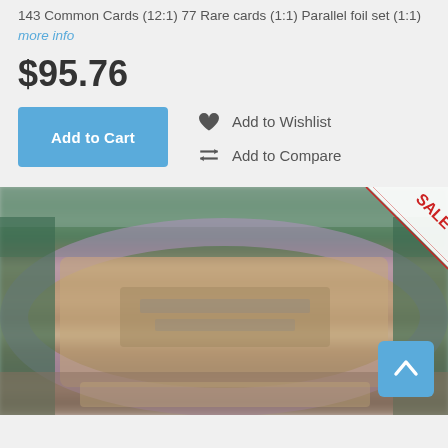143 Common Cards (12:1) 77 Rare cards (1:1) Parallel foil set (1:1) more info
$95.76
Add to Cart
Add to Wishlist
Add to Compare
[Figure (photo): Blurred product photo showing what appears to be trading card packaging or a box, with purple and brown/tan tones, with a SALE banner in the top right corner and a scroll-to-top button in the bottom right.]